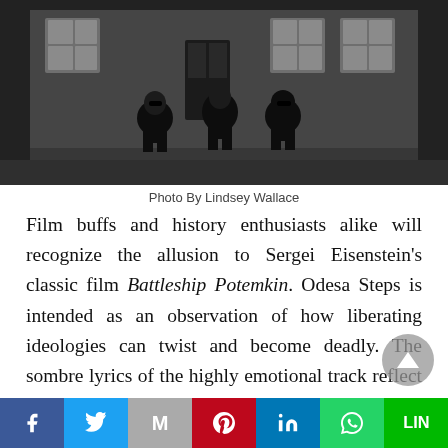[Figure (photo): Black and white photo of three people dressed in black sitting in front of a building with large windows]
Photo By Lindsey Wallace
Film buffs and history enthusiasts alike will recognize the allusion to Sergei Eisenstein's classic film Battleship Potemkin. Odesa Steps is intended as an observation of how liberating ideologies can twist and become deadly. The sombre lyrics of the highly emotional track reflect upon the brutal history of the 20th century – and the horror of violent karmic cycles repeating themselves.